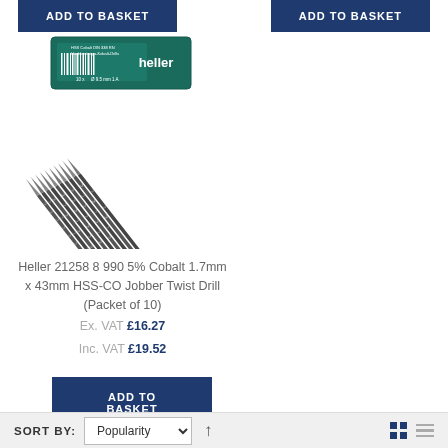[Figure (screenshot): Two 'ADD TO BASKET' buttons at the top of the page in dark blue]
[Figure (photo): Heller brand cobalt drill bits — a teal/green product box labeled 'heller' alongside a fan of 10 twist drill bits arranged diagonally]
Heller 21258 8 990 5% Cobalt 1.7mm x 43mm HSS-CO Jobber Twist Drill (Packet of 10)
Ex. VAT £16.27
Inc. VAT £19.52
[Figure (screenshot): ADD TO BASKET button in dark blue]
SORT BY: Popularity